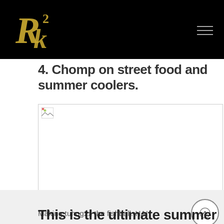R²k logo and navigation bar
4. Chomp on street food and summer coolers.
[Figure (photo): A broken/unloaded image placeholder representing a street food or summer cooler photo]
Making tuhog2x the fishball. HA!
This is the ultimate summer food. Halo-halo!